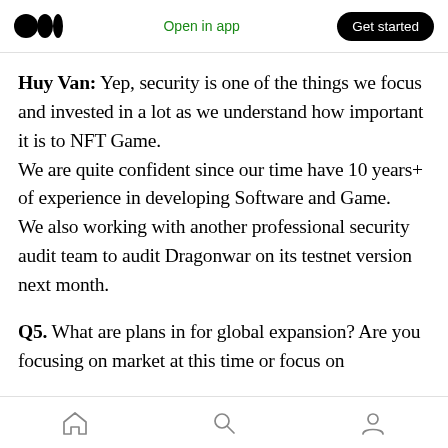Medium app navigation bar — logo, Open in app, Get started
Huy Van: Yep, security is one of the things we focus and invested in a lot as we understand how important it is to NFT Game.
We are quite confident since our time have 10 years+ of experience in developing Software and Game.
We also working with another professional security audit team to audit Dragonwar on its testnet version next month.
Q5. What are plans in for global expansion? Are you focusing on market at this time or focus on
Bottom navigation bar — Home, Search, Profile icons